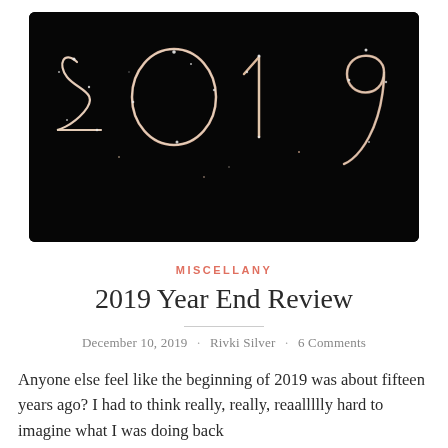[Figure (photo): Dark/black background photo with '2019' written in sparkler light trails, glowing pink/white, filling the frame]
MISCELLANY
2019 Year End Review
December 10, 2019 · Rivki Silver · 6 Comments
Anyone else feel like the beginning of 2019 was about fifteen years ago? I had to think really, really, reaallllly hard to imagine what I was doing back